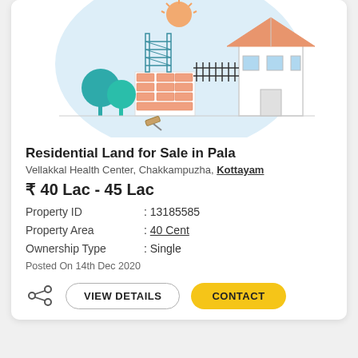[Figure (illustration): Colorful real estate / construction illustration showing a house with teal trees, brick wall under construction, scaffolding tower, fencing, and a rising sun — flat design style with teal, orange, and white colors]
Residential Land for Sale in Pala
Vellakkal Health Center, Chakkampuzha, Kottayam
₹ 40 Lac - 45 Lac
| Property | Value |
| --- | --- |
| Property ID | : 13185585 |
| Property Area | : 40 Cent |
| Ownership Type | : Single |
Posted On 14th Dec 2020
VIEW DETAILS   CONTACT